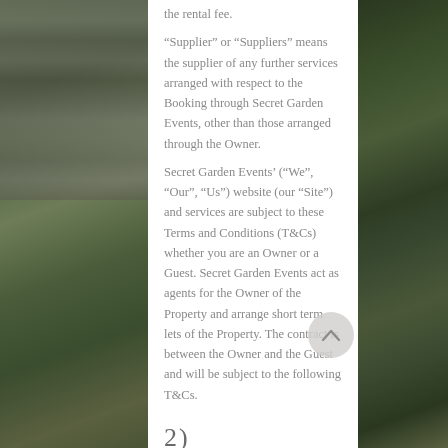the rental fee.
“Supplier” or “Suppliers” means the supplier of any further services arranged with respect to the Booking through Secret Garden Events, other than those arranged through the Owner.
Secret Garden Events’ (“We”, “Our”, “Us”) website (our “Site”) and services are subject to these Terms and Conditions (T&Cs) whether you are an Owner or a Guest. Secret Garden Events act as agents for the Owner of the Property and arrange short term lets of the Property. The contract is between the Owner and the Guest and will be subject to the following T&Cs.
2) AGREEMENT
Please read the Terms and Conditions carefully before using Secret Garden Events’